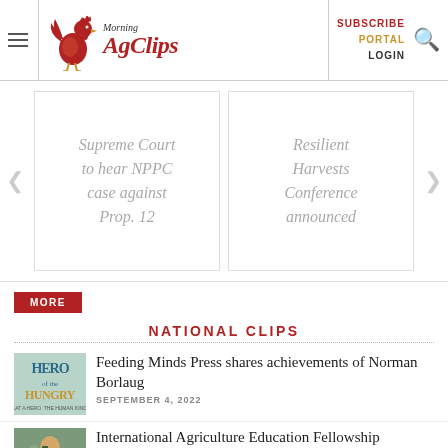Morning AgClips — SUBSCRIBE PORTAL LOGIN
[Figure (screenshot): Carousel slide: Supreme Court to hear NPPC case against Prop. 12]
[Figure (screenshot): Carousel slide: Resilient Harvests Conference announced]
MORE
NATIONAL CLIPS
[Figure (illustration): Book cover thumbnail: Hero Hungry]
Feeding Minds Press shares achievements of Norman Borlaug
SEPTEMBER 4, 2022
[Figure (photo): Thumbnail photo for International Agriculture Education Fellowship Program article]
International Agriculture Education Fellowship Program seeks adventurous